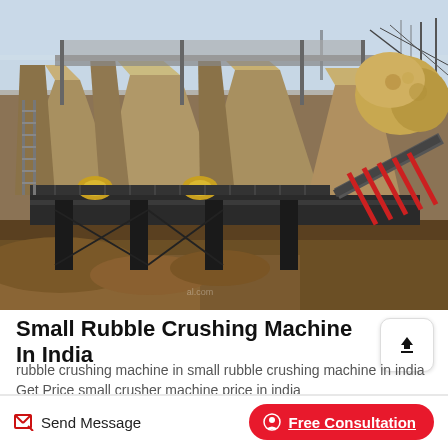[Figure (photo): Industrial stone/rubble crushing facility with large pyramid-shaped aggregate hoppers, conveyor belts with red rollers on the right, steel support structures, and dirt ground in the foreground. Overcast sky visible in background.]
Small Rubble Crushing Machine In India
rubble crushing machine in small rubble crushing machine in india Get Price small crusher machine price in india